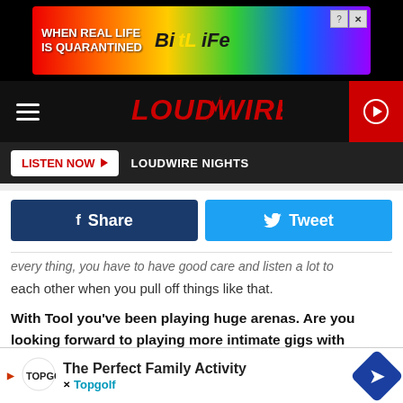[Figure (illustration): BitLife advertisement banner with rainbow gradient background, text 'WHEN REAL LIFE IS QUARANTINED' on left, BitLife logo in center-right, cartoon character with mask on right]
[Figure (logo): Loudwire website navigation bar with hamburger menu on left, Loudwire logo in center (red bolt lightning design), red play button on right]
[Figure (illustration): Listen Now button bar with 'LISTEN NOW ▶' button in red/white and 'LOUDWIRE NIGHTS' text on dark background]
[Figure (infographic): Social sharing buttons: dark blue Facebook Share button and light blue Twitter Tweet button]
...every thing, you have to have good care and listen a lot to each other when you pull off things like that.
With Tool you've been playing huge arenas. Are you looking forward to playing more intimate gigs with Volto!?
Yeah, it's enjoyable to do. I get to play quite a few gigs with Volto! We get to play at least once a month somewhere – little places like the Baked Potato here in Los Angeles. I get the inti... ...ce to
[Figure (illustration): Topgolf advertisement at the bottom: 'The Perfect Family Activity' with Topgolf logo and navigation arrow icon]